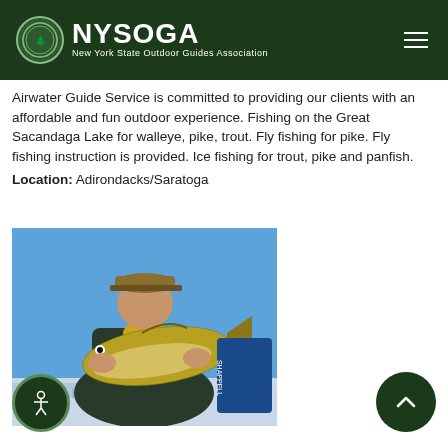NYSOGA — New York State Outdoor Guides Association
Airwater Guide Service is committed to providing our clients with an affordable and fun outdoor experience. Fishing on the Great Sacandaga Lake for walleye, pike, trout. Fly fishing for pike. Fly fishing instruction is provided. Ice fishing for trout, pike and panfish.
Location: Adirondacks/Saratoga
[Figure (photo): Man in yellow and green jacket and hat holding a large walleye fish on a frozen lake with blue sky background]